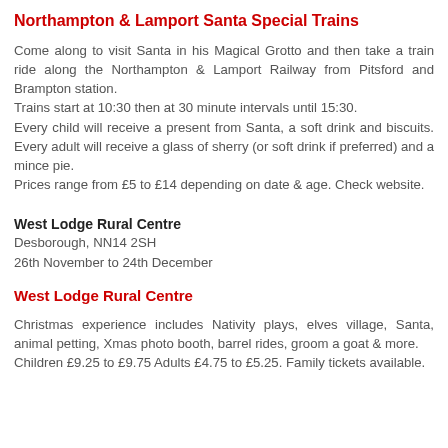Northampton & Lamport Santa Special Trains
Come along to visit Santa in his Magical Grotto and then take a train ride along the Northampton & Lamport Railway from Pitsford and Brampton station.
Trains start at 10:30 then at 30 minute intervals until 15:30.
Every child will receive a present from Santa, a soft drink and biscuits. Every adult will receive a glass of sherry (or soft drink if preferred) and a mince pie.
Prices range from £5 to £14 depending on date & age. Check website.
West Lodge Rural Centre
Desborough, NN14 2SH
26th November to 24th December
West Lodge Rural Centre
Christmas experience includes Nativity plays, elves village, Santa, animal petting, Xmas photo booth, barrel rides, groom a goat & more.
Children £9.25 to £9.75 Adults £4.75 to £5.25. Family tickets available.